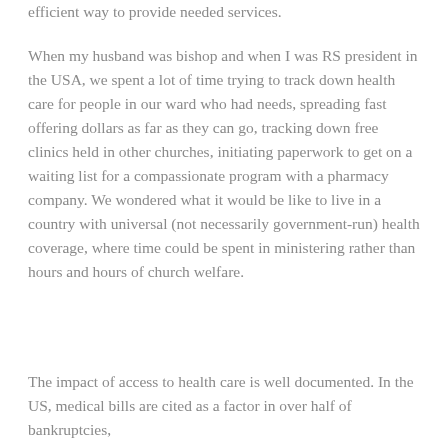efficient way to provide needed services.
When my husband was bishop and when I was RS president in the USA, we spent a lot of time trying to track down health care for people in our ward who had needs, spreading fast offering dollars as far as they can go, tracking down free clinics held in other churches, initiating paperwork to get on a waiting list for a compassionate program with a pharmacy company. We wondered what it would be like to live in a country with universal (not necessarily government-run) health coverage, where time could be spent in ministering rather than hours and hours of church welfare.
The impact of access to health care is well documented. In the US, medical bills are cited as a factor in over half of bankruptcies,